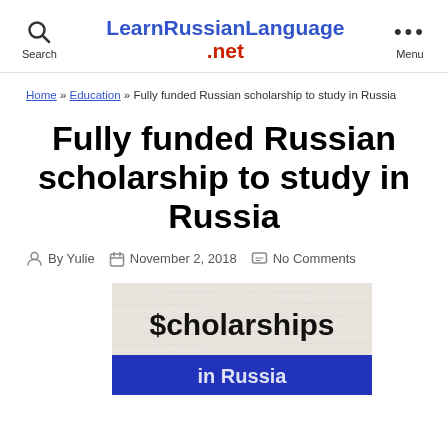LearnRussianLanguage.net — Search / Menu
Home » Education » Fully funded Russian scholarship to study in Russia
Fully funded Russian scholarship to study in Russia
By Yulie  November 2, 2018  No Comments
[Figure (photo): Banner image with text '$cholarships' on a textured background with white and blue sections]